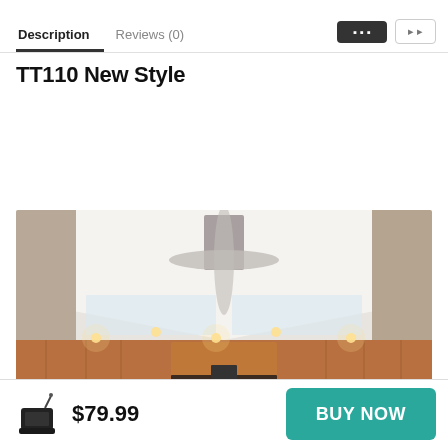Description   Reviews (0)
TT110 New Style
[Figure (photo): Interior photograph of a courtroom with wood-paneled walls, recessed ceiling lights, and a ceiling fan/light fixture hanging from a high vaulted ceiling. Rows of benches and a judge's bench are visible.]
$79.99   BUY NOW